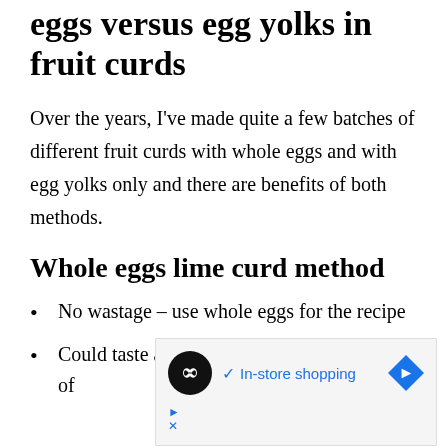The question of using whole eggs versus egg yolks in fruit curds
Over the years, I've made quite a few batches of different fruit curds with whole eggs and with egg yolks only and there are benefits of both methods.
Whole eggs lime curd method
No wastage – use whole eggs for the recipe
Could taste a bit 'eggy' and rubbery (because of
[Figure (other): Advertisement banner showing a loop/infinity icon in a black circle, a checkmark with 'In-store shopping' text in blue, a blue diamond arrow icon, and small play/close icons in the bottom left corner.]